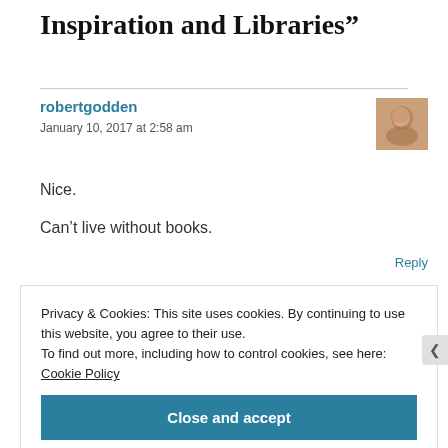Inspiration and Libraries”
robertgodden
January 10, 2017 at 2:58 am
Nice.

Can’t live without books.
Reply
Privacy & Cookies: This site uses cookies. By continuing to use this website, you agree to their use.
To find out more, including how to control cookies, see here: Cookie Policy
Close and accept